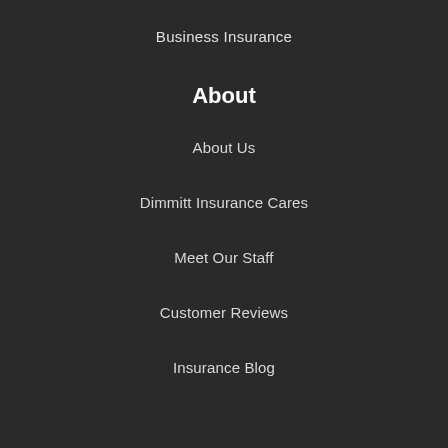Business Insurance
About
About Us
Dimmitt Insurance Cares
Meet Our Staff
Customer Reviews
Insurance Blog